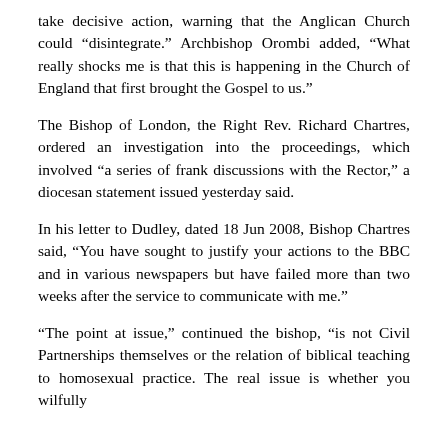take decisive action, warning that the Anglican Church could “disintegrate.” Archbishop Orombi added, “What really shocks me is that this is happening in the Church of England that first brought the Gospel to us.”
The Bishop of London, the Right Rev. Richard Chartres, ordered an investigation into the proceedings, which involved “a series of frank discussions with the Rector,” a diocesan statement issued yesterday said.
In his letter to Dudley, dated 18 Jun 2008, Bishop Chartres said, “You have sought to justify your actions to the BBC and in various newspapers but have failed more than two weeks after the service to communicate with me.”
“The point at issue,” continued the bishop, “is not Civil Partnerships themselves or the relation of biblical teaching to homosexual practice. The real issue is whether you wilfully